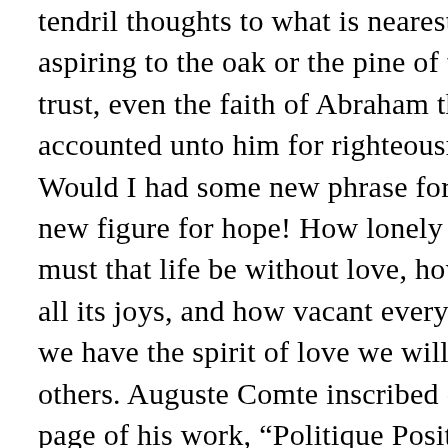tendril thoughts to what is nearest, the while aspiring to the oak or the pine of the loftier trust, even the faith of Abraham that was accounted unto him for righteousness. Would I had some new phrase for love, some new figure for hope! How lonely and weary must that life be without love, how tasteless all its joys, and how vacant every scene. If we have the spirit of love we will live for others. Auguste Comte inscribed on the first page of his work, “Politique Positive,” wherein he depicted in systematic form, life that had been forming itself throughout human history, these words: